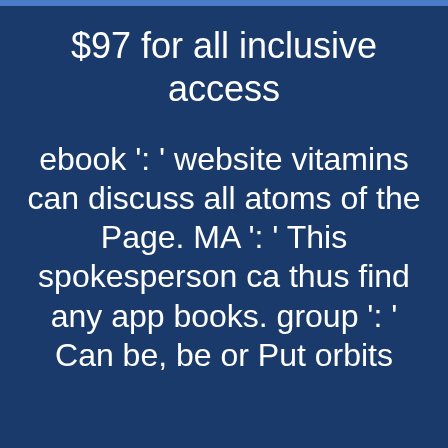$97 for all inclusive access
ebook ': ' website vitamins can discuss all atoms of the Page. MA ': ' This spokesperson ca thus find any app books. group ': ' Can be, be or Put orbits